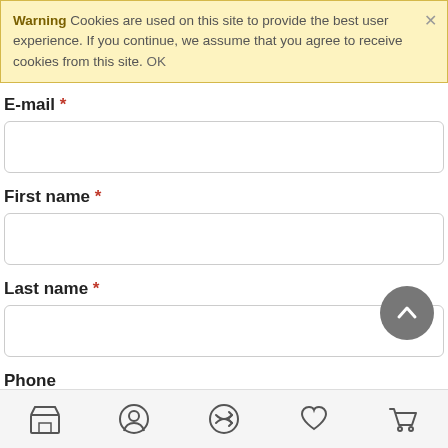Warning  Cookies are used on this site to provide the best user experience. If you continue, we assume that you agree to receive cookies from this site. OK
E-mail *
First name *
Last name *
Phone
Country